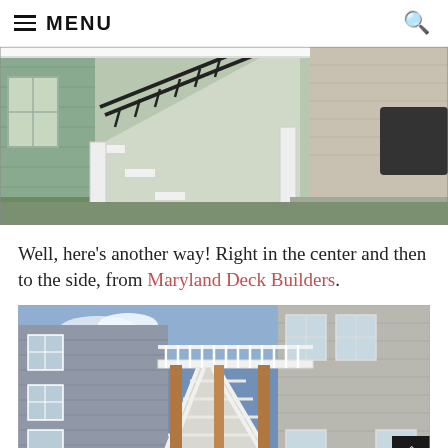≡ MENU
[Figure (photo): Outdoor deck staircase with white railings and black balusters attached to a house, with white support columns and view of backyard]
Well, here's another way! Right in the center and then to the side, from Maryland Deck Builders.
[Figure (photo): Two-story house exterior with white deck and staircase railings, multiple windows, gray siding, and wooden support posts]